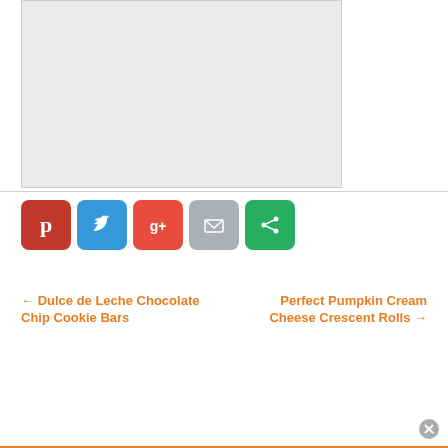[Figure (other): Light gray placeholder image box]
[Figure (infographic): Social sharing buttons: Pinterest (red), Twitter (blue), Google+ (red), Mail (gray), Share (green)]
← Dulce de Leche Chocolate Chip Cookie Bars
Perfect Pumpkin Cream Cheese Crescent Rolls →